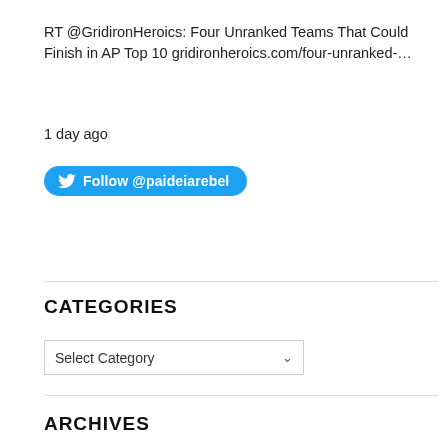RT @GridironHeroics: Four Unranked Teams That Could Finish in AP Top 10 gridironheroics.com/four-unranked-…
1 day ago
[Figure (other): Follow @paideiarebel Twitter follow button (blue rounded rectangle with bird icon)]
CATEGORIES
[Figure (other): Select Category dropdown box]
ARCHIVES
[Figure (other): Select Month dropdown box]
GREAT SITES
Ball Exclusives